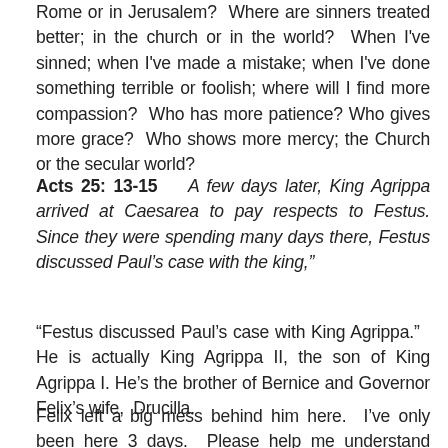Rome or in Jerusalem?  Where are sinners treated better; in the church or in the world?  When I've sinned; when I've made a mistake; when I've done something terrible or foolish; where will I find more compassion?  Who has more patience? Who gives more grace?  Who shows more mercy; the Church or the secular world?
Acts 25: 13-15    A few days later, King Agrippa arrived at Caesarea to pay respects to Festus. Since they were spending many days there, Festus discussed Paul's case with the king,"
“Festus discussed Paul’s case with King Agrippa.”    He is actually King Agrippa II, the son of King Agrippa I. He’s the brother of Bernice and Governor Felix’s wife,  Drucilla.
Felix left a big mess behind him here.  I’ve only been here 3 days.  Please help me understand what’s going on here